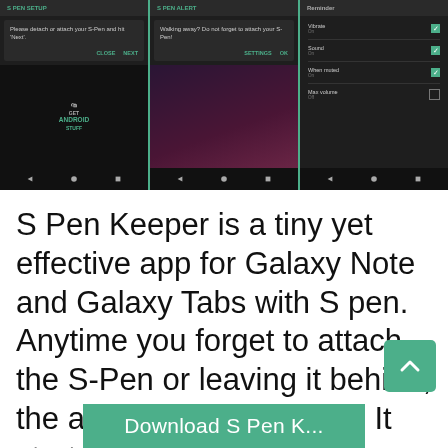[Figure (screenshot): Three Android phone screenshots showing S Pen Keeper app: setup dialog, walking away alert, and notification settings with Vibrate/Sound/When muted checked and Max volume unchecked.]
S Pen Keeper is a tiny yet effective app for Galaxy Note and Galaxy Tabs with S pen. Anytime you forget to attach the S-Pen or leaving it behind, the app will buzz an alert. It starts at every boot and runs in the background. You can configure various notification alerts and enable motion detection.
[Figure (screenshot): Green Download S Pen K... button at the bottom of the page]